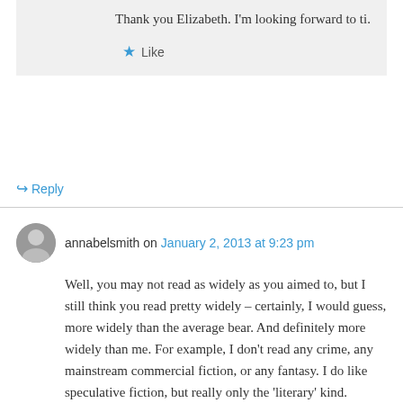Thank you Elizabeth. I'm looking forward to ti.
Like
Reply
annabelsmith on January 2, 2013 at 9:23 pm
Well, you may not read as widely as you aimed to, but I still think you read pretty widely – certainly, I would guess, more widely than the average bear. And definitely more widely than me. For example, I don't read any crime, any mainstream commercial fiction, or any fantasy. I do like speculative fiction, but really only the 'literary' kind.